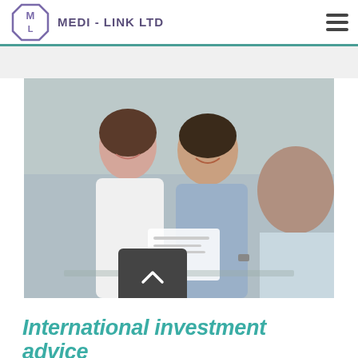MEDI - LINK LTD
[Figure (photo): A smiling couple reviewing documents with a financial advisor at a meeting table]
International investment advice